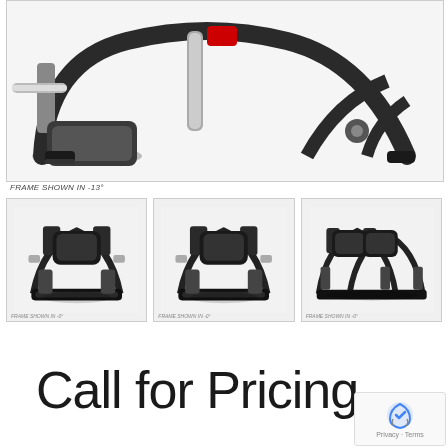[Figure (photo): Close-up photo of a gym/fitness machine (leg press or similar plate-loaded machine) showing foot platform, frame, and mechanical components. The frame is dark/black with gray accents.]
FRAME SHOWN IN -13°
[Figure (photo): Thumbnail image of the full fitness machine from a front-angle view, showing seat, handles, and foot platform.]
[Figure (photo): Thumbnail image of the full fitness machine from a slightly different angle.]
[Figure (photo): Thumbnail image of the full fitness machine showing two seats side by side (tandem version).]
Call for Pricing